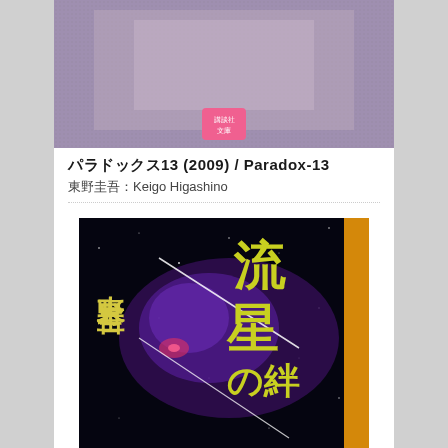[Figure (photo): Top portion of a book cover with purple/gray halftone image, featuring a pink Kodansha Bunko badge/sticker]
パラドックス13 (2009) / Paradox-13
東野圭吾：Keigo Higashino
[Figure (photo): Book cover of 流星の絆 (Ryusei no Kizuna) by 東野圭吾 (Keigo Higashino). Dark space background with purple nebula, shooting star streaks, and large yellow-green Japanese title characters. Orange/gold spine strip on the right.]